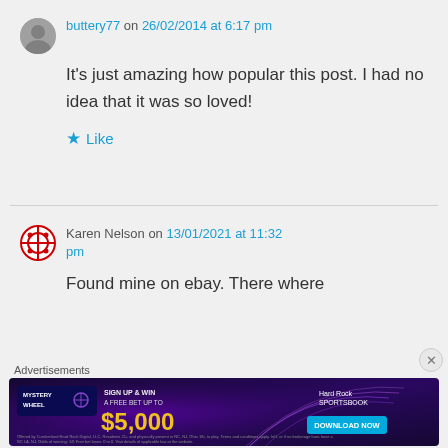buttery77 on 26/02/2014 at 6:17 pm
It's just amazing how popular this post. I had no idea that it was so loved!
Like
Karen Nelson on 13/01/2021 at 11:32 pm
Found mine on ebay. There where
Advertisements
[Figure (other): Hard Rock Sportsbook advertisement banner with Mystery Wheel promotion offering a free bet up to $5,000 with a Download Now button]